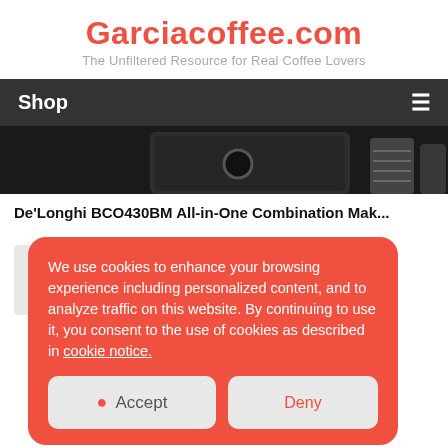Garciacoffee.com
The Unfiltered Resource for Real Coffee Lovers
Shop
[Figure (photo): Partial view of a De'Longhi coffee machine in black on dark background]
De'Longhi BCO430BM All-in-One Combination Mak...
We use cookies to enhance your browsing experience including personalized content, and to analyze traffic on this website. By continuing to use it, you consent to the use of cookies as described in cookie notice.
Accept
Deny